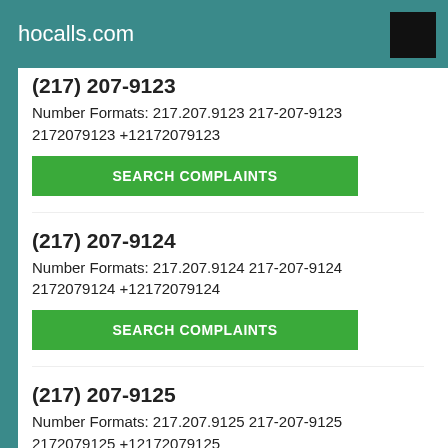hocalls.com
(217) 207-9123
Number Formats: 217.207.9123 217-207-9123 2172079123 +12172079123
SEARCH COMPLAINTS
(217) 207-9124
Number Formats: 217.207.9124 217-207-9124 2172079124 +12172079124
SEARCH COMPLAINTS
(217) 207-9125
Number Formats: 217.207.9125 217-207-9125 2172079125 +12172079125
SEARCH COMPLAINTS
(217) 207-9126